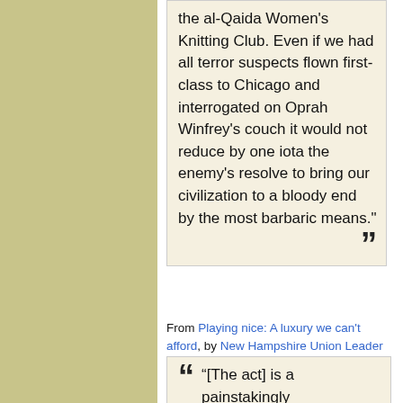the al-Qaida Women's Knitting Club. Even if we had all terror suspects flown first-class to Chicago and interrogated on Oprah Winfrey's couch it would not reduce by one iota the enemy's resolve to bring our civilization to a bloody end by the most barbaric means."
From Playing nice: A luxury we can't afford, by New Hampshire Union Leader editorial board (New Hampshire Union Leader, September 17, 2006) (view)
"[The act] is a painstakingly